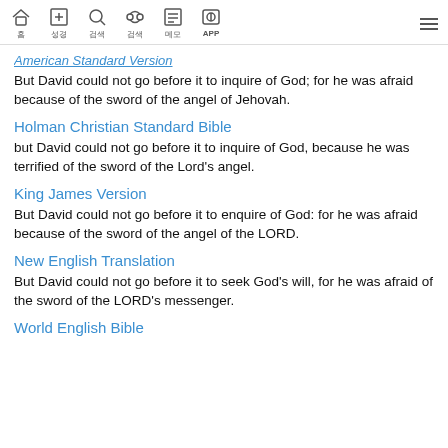Home | Bible | Search | Cross-ref | Notes | APP | Menu
American Standard Version
But David could not go before it to inquire of God; for he was afraid because of the sword of the angel of Jehovah.
Holman Christian Standard Bible
but David could not go before it to inquire of God, because he was terrified of the sword of the Lord's angel.
King James Version
But David could not go before it to enquire of God: for he was afraid because of the sword of the angel of the LORD.
New English Translation
But David could not go before it to seek God's will, for he was afraid of the sword of the LORD's messenger.
World English Bible